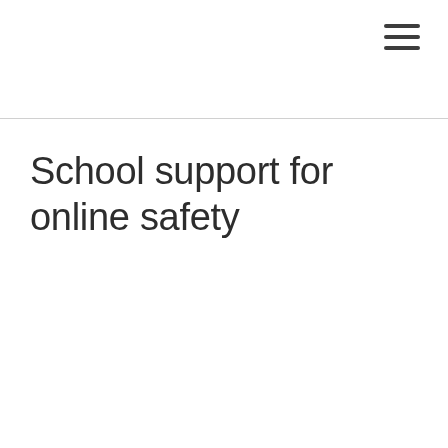School support for online safety